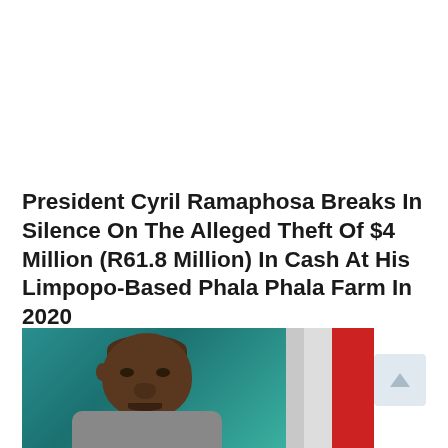President Cyril Ramaphosa Breaks In Silence On The Alleged Theft Of $4 Million (R61.8 Million) In Cash At His Limpopo-Based Phala Phala Farm In 2020
[Figure (photo): Close-up photo of President Cyril Ramaphosa with a teal/green background and a red vertical stripe on the right side, likely a South African flag.]